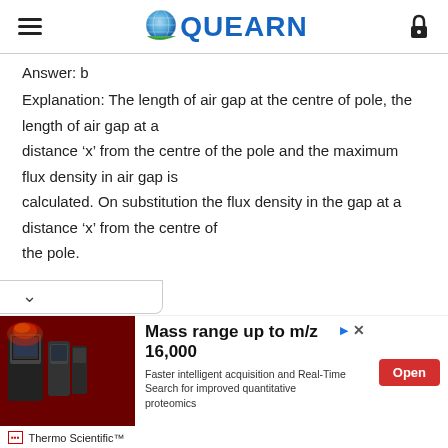QUEARN
Answer: b
Explanation: The length of air gap at the centre of pole, the length of air gap at a distance ‘x’ from the centre of the pole and the maximum flux density in air gap is calculated. On substitution the flux density in the gap at a distance ‘x’ from the centre of the pole.
[Figure (other): Advertisement banner for Thermo Scientific mass spectrometer showing product images and text: Mass range up to m/z 16,000. Faster intelligent acquisition and Real-Time Search for improved quantitative proteomics. Open button.]